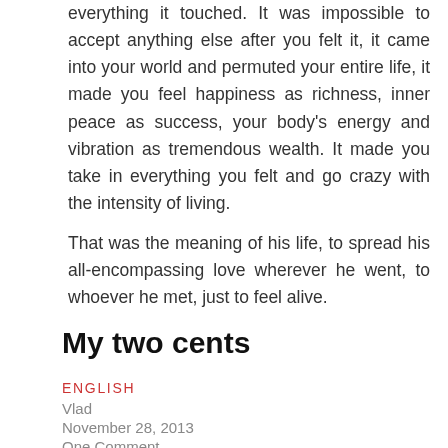everything it touched. It was impossible to accept anything else after you felt it, it came into your world and permuted your entire life, it made you feel happiness as richness, inner peace as success, your body's energy and vibration as tremendous wealth. It made you take in everything you felt and go crazy with the intensity of living.
That was the meaning of his life, to spread his all-encompassing love wherever he went, to whoever he met, just to feel alive.
My two cents
ENGLISH
Vlad
November 28, 2013
One Comment